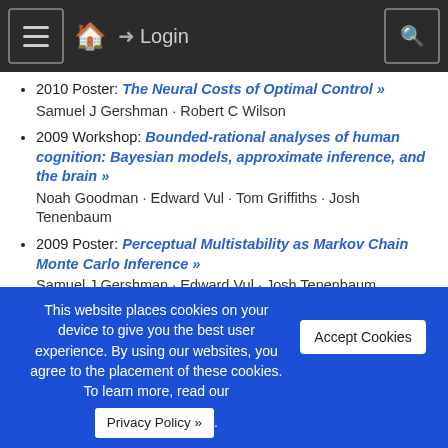Navigation bar with hamburger menu, home, login, and search icons
2010 Poster: The Neural Costs of Optimal Control »
Samuel J Gershman · Robert C Wilson
2009 Workshop: Bounded-rational analyses of human cognition: Bayesian models, approximate inference, and the brain »
Noah Goodman · Edward Vul · Tom Griffiths · Josh Tenenbaum
2009 Poster: Perceptual Multistability as Markov Chain Monte Carlo Inference »
Samuel J Gershman · Edward Vul · Josh Tenenbaum
2009 Poster: Neural Implementation of Hierarchical Bayesian Inference by Importance Sampling »
Lei ShiUpdateMe · Tom Griffiths
2009 Spotlight: Neural Implementation of Hierarchical
This website places cookies on your device to give you the best user experience. By using our websites, you agree to the placement of these cookies. To learn more, read our Privacy Policy ».